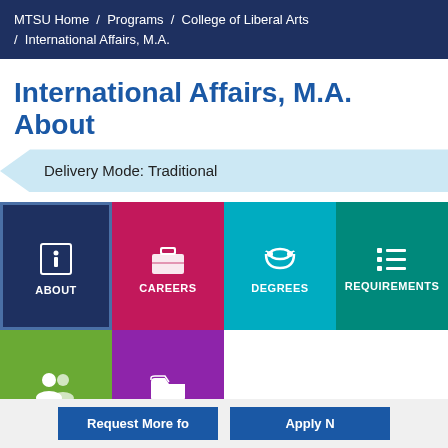MTSU Home / Programs / College of Liberal Arts / International Affairs, M.A.
International Affairs, M.A. About
Delivery Mode: Traditional
[Figure (infographic): Navigation grid with 6 colored tiles: ABOUT (dark blue with info icon), CAREERS (pink/magenta with briefcase icon), DEGREES (teal with gift/ribbon icon), REQUIREMENTS (green with list icon), FACULTY (olive green with people icon), RESOURCES (purple with folder icon)]
Request More Info   Apply Now